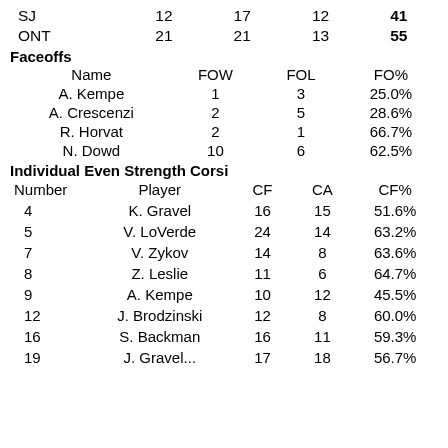|  |  |  |  |  |
| --- | --- | --- | --- | --- |
| SJ | 12 | 17 | 12 | 41 |
| ONT | 21 | 21 | 13 | 55 |
Faceoffs
| Name | FOW | FOL | FO% |
| --- | --- | --- | --- |
| A. Kempe | 1 | 3 | 25.0% |
| A. Crescenzi | 2 | 5 | 28.6% |
| R. Horvat | 2 | 1 | 66.7% |
| N. Dowd | 10 | 6 | 62.5% |
Individual Even Strength Corsi
| Number | Player | CF | CA | CF% |
| --- | --- | --- | --- | --- |
| 4 | K. Gravel | 16 | 15 | 51.6% |
| 5 | V. LoVerde | 24 | 14 | 63.2% |
| 7 | V. Zykov | 14 | 8 | 63.6% |
| 8 | Z. Leslie | 11 | 6 | 64.7% |
| 9 | A. Kempe | 10 | 12 | 45.5% |
| 12 | J. Brodzinski | 12 | 8 | 60.0% |
| 16 | S. Backman | 16 | 11 | 59.3% |
| 19 | J. Gravel... | 17 | 18 | 56.7% |